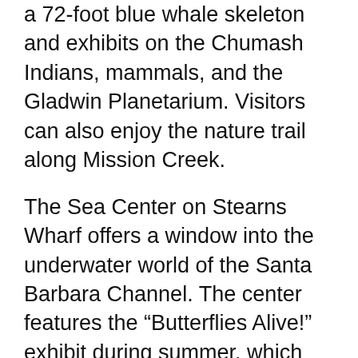a 72-foot blue whale skeleton and exhibits on the Chumash Indians, mammals, and the Gladwin Planetarium. Visitors can also enjoy the nature trail along Mission Creek.
The Sea Center on Stearns Wharf offers a window into the underwater world of the Santa Barbara Channel. The center features the “Butterflies Alive!” exhibit during summer, which provides up-close views of these winged creatures.
Special exhibitions complement the permanent collection at both campuses, making the Museum of Natural History a great place to learn about the natural history of the Santa Barbara region.